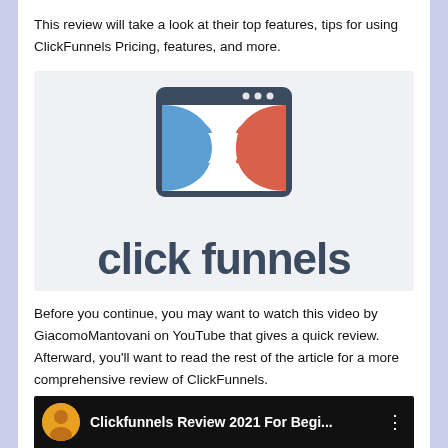This review will take a look at their top features, tips for using ClickFunnels Pricing, features, and more.
[Figure (logo): ClickFunnels logo: browser window icon with interlocking blue and red gear/funnel shapes, and 'click funnels' wordmark in dark blue-gray below.]
Before you continue, you may want to watch this video by GiacomoMantovani on YouTube that gives a quick review. Afterward, you'll want to read the rest of the article for a more comprehensive review of ClickFunnels.
[Figure (screenshot): Video thumbnail showing a man's avatar circle and the title 'Clickfunnels Review 2021 For Begi...' on a dark background.]